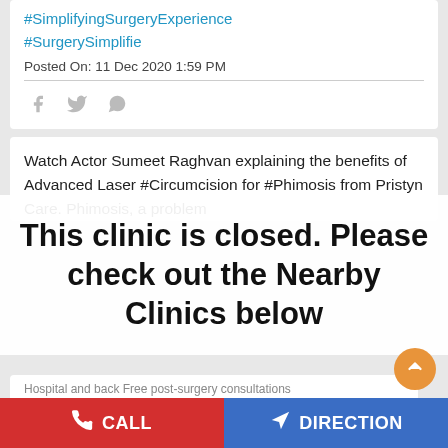#SimplifyingSurgeryExperience
#SurgerySimplifie
Posted On: 11 Dec 2020 1:59 PM
[Figure (other): Social share icons: Facebook, Twitter, WhatsApp]
Watch Actor Sumeet Raghvan explaining the benefits of Advanced Laser #Circumcision for #Phimosis from Pristyn Care. Phimosis, a problem
This clinic is closed. Please check out the Nearby Clinics below
Hospital and back Free post-surgery consultations Pristyn Care – Simplifying Surgery Experience #PristynCare #SimplifyingSurgeryExperience #menshealth
#Circumcision
CALL
DIRECTION